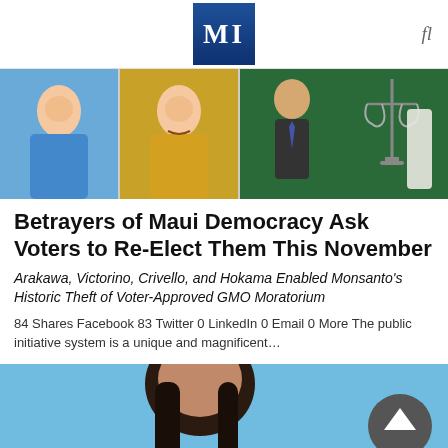MI
[Figure (photo): Header image showing multiple people including two smiling women and a man in a suit, against a green background with a justice scales icon on the right.]
Betrayers of Maui Democracy Ask Voters to Re-Elect Them This November
Arakawa, Victorino, Crivello, and Hokama Enabled Monsanto's Historic Theft of Voter-Approved GMO Moratorium
84 Shares Facebook 83 Twitter 0 LinkedIn 0 Email 0 More The public initiative system is a unique and magnificent…
[Figure (photo): Photo of a woman with dark hair against a blue background, partially visible, with a dark circular scroll-to-top button on the right.]